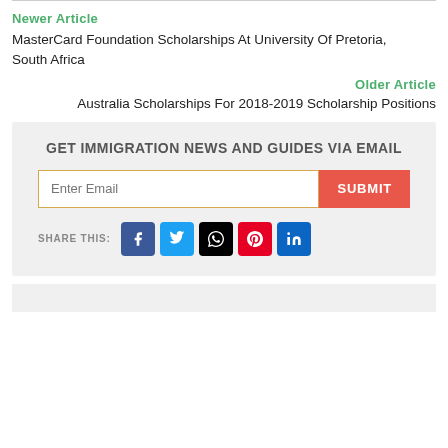Newer Article
MasterCard Foundation Scholarships At University Of Pretoria, South Africa
Older Article
Australia Scholarships For 2018-2019 Scholarship Positions
GET IMMIGRATION NEWS AND GUIDES VIA EMAIL
[Figure (infographic): Email subscription form with Enter Email input field and SUBMIT button, plus social share icons for Facebook, Twitter, WhatsApp, Pinterest, and LinkedIn]